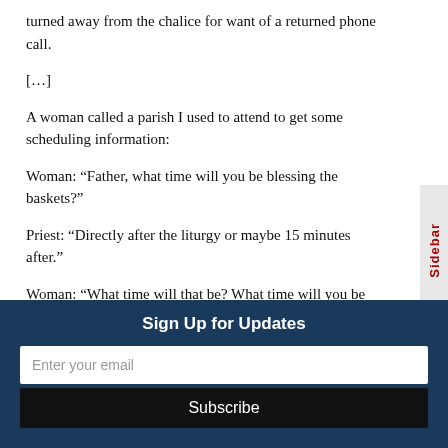turned away from the chalice for want of a returned phone call.
[…]
A woman called a parish I used to attend to get some scheduling information:
Woman: “Father, what time will you be blessing the baskets?”
Priest: “Directly after the liturgy or maybe 15 minutes after.”
Woman: “What time will that be? What time will you be done?”
Sign Up for Updates